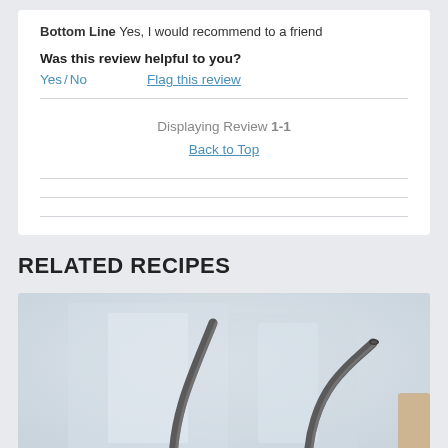Bottom Line Yes, I would recommend to a friend
Was this review helpful to you?
Yes / No   Flag this review
Displaying Review 1-1
Back to Top
RELATED RECIPES
[Figure (photo): Photo of metal drinking straws on a light blurred background]